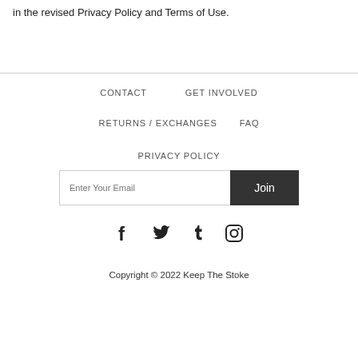in the revised Privacy Policy and Terms of Use.
CONTACT
GET INVOLVED
RETURNS / EXCHANGES
FAQ
PRIVACY POLICY
Enter Your Email  Join
[Figure (infographic): Social media icons: Facebook, Twitter, Tumblr, Instagram]
Copyright © 2022 Keep The Stoke